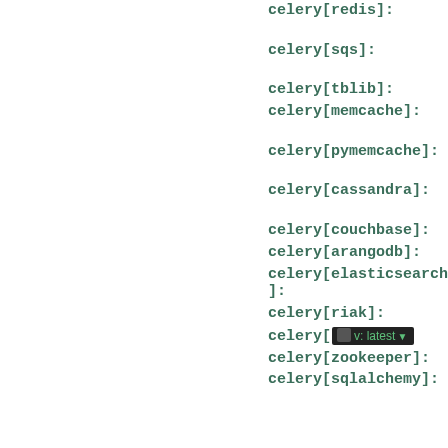celery[redis]:
celery[sqs]:
celery[tblib]:
celery[memcache]:
celery[pymemcache]:
celery[cassandra]:
celery[couchbase]:
celery[arangodb]:
celery[elasticsearch]:
celery[riak]:
celery[ v: latest
celery[zookeeper]:
celery[sqlalchemy]: